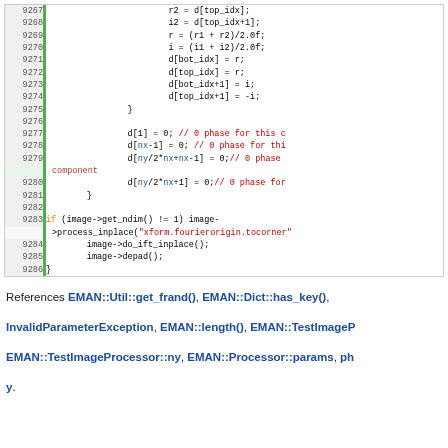[Figure (screenshot): Code listing showing lines 9267-9286 of C++ source code with syntax highlighting. Green bar on left for line numbers. Code includes FFT butterfly operations, d array assignments, and image processing calls.]
References EMAN::Util::get_frand(), EMAN::Dict::has_key(), InvalidParameterException, EMAN::length(), EMAN::TestImageP... EMAN::TestImageProcessor::ny, EMAN::Processor::params, ph... y.